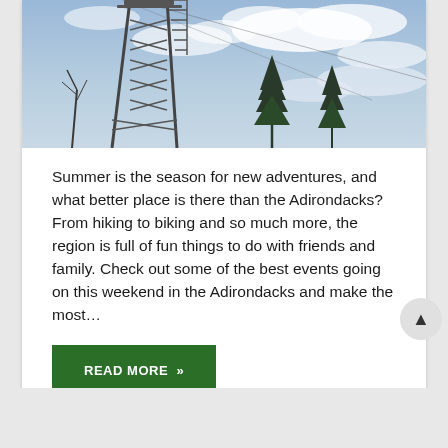[Figure (photo): Metal fire lookout tower with stairs against a partly cloudy sky, with bare trees in the background.]
Summer is the season for new adventures, and what better place is there than the Adirondacks? From hiking to biking and so much more, the region is full of fun things to do with friends and family. Check out some of the best events going on this weekend in the Adirondacks and make the most...
READ MORE »